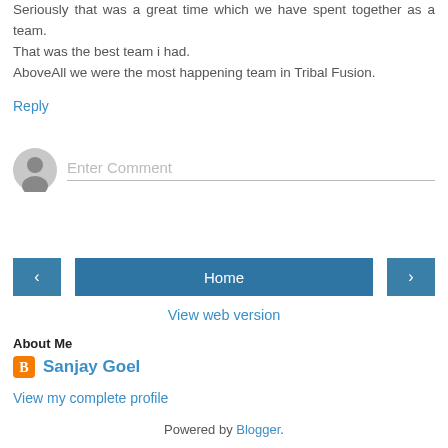Seriously that was a great time which we have spent together as a team.
That was the best team i had.
AboveAll we were the most happening team in Tribal Fusion.
Reply
[Figure (other): Comment input box with user avatar placeholder and 'Enter Comment' placeholder text]
[Figure (other): Navigation bar with left arrow button, Home button, and right arrow button]
View web version
About Me
Sanjay Goel
View my complete profile
Powered by Blogger.